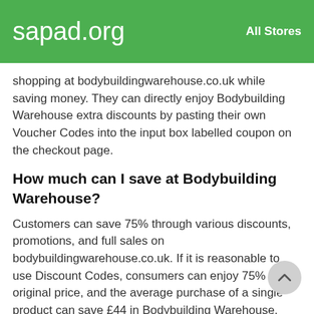sapad.org    All Stores
shopping at bodybuildingwarehouse.co.uk while saving money. They can directly enjoy Bodybuilding Warehouse extra discounts by pasting their own Voucher Codes into the input box labelled coupon on the checkout page.
How much can I save at Bodybuilding Warehouse?
Customers can save 75% through various discounts, promotions, and full sales on bodybuildingwarehouse.co.uk. If it is reasonable to use Discount Codes, consumers can enjoy 75% at the original price, and the average purchase of a single product can save £44 in Bodybuilding Warehouse.